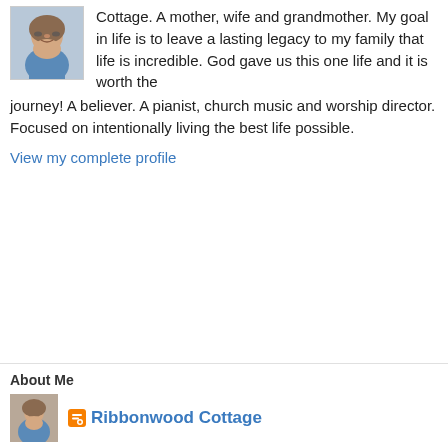[Figure (photo): Profile photo of a woman smiling, wearing a denim jacket, with glasses]
Cottage. A mother, wife and grandmother. My goal in life is to leave a lasting legacy to my family that life is incredible. God gave us this one life and it is worth the journey! A believer. A pianist, church music and worship director. Focused on intentionally living the best life possible.
View my complete profile
About Me
[Figure (photo): Small thumbnail profile photo]
Ribbonwood Cottage